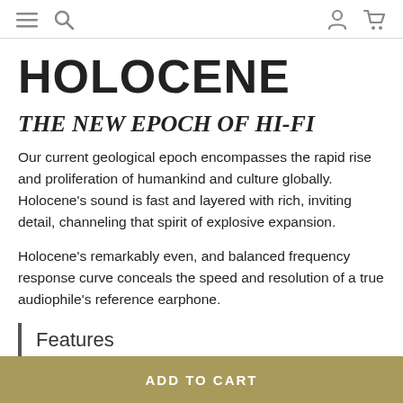≡ 🔍 [user icon] [cart icon]
HOLOCENE
THE NEW EPOCH OF HI-FI
Our current geological epoch encompasses the rapid rise and proliferation of humankind and culture globally. Holocene's sound is fast and layered with rich, inviting detail, channeling that spirit of explosive expansion.
Holocene's remarkably even, and balanced frequency response curve conceals the speed and resolution of a true audiophile's reference earphone.
Features
ADD TO CART